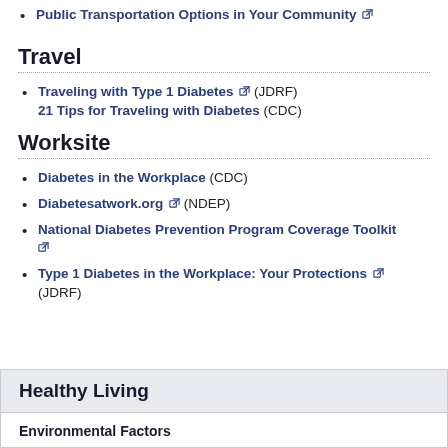Public Transportation Options in Your Community
Travel
Traveling with Type 1 Diabetes (JDRF)
21 Tips for Traveling with Diabetes (CDC)
Worksite
Diabetes in the Workplace (CDC)
Diabetesatwork.org (NDEP)
National Diabetes Prevention Program Coverage Toolkit
Type 1 Diabetes in the Workplace: Your Protections (JDRF)
Healthy Living
Environmental Factors